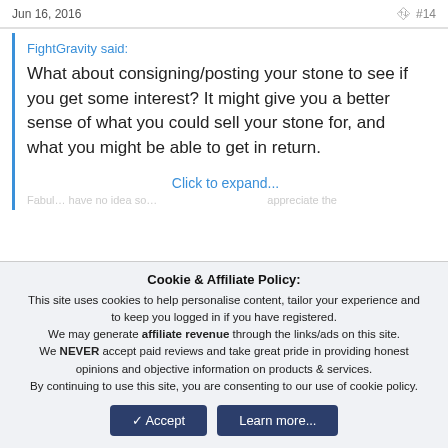Jun 16, 2016  #14
FightGravity said:
What about consigning/posting your stone to see if you get some interest? It might give you a better sense of what you could sell your stone for, and what you might be able to get in return.
Click to expand...
Cookie & Affiliate Policy: This site uses cookies to help personalise content, tailor your experience and to keep you logged in if you have registered. We may generate affiliate revenue through the links/ads on this site. We NEVER accept paid reviews and take great pride in providing honest opinions and objective information on products & services. By continuing to use this site, you are consenting to our use of cookie policy.
Accept  Learn more...